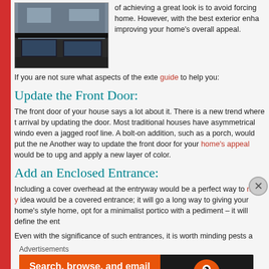[Figure (photo): Exterior photo of a modern house with dark facade and glass windows]
of achieving a great look is to avoid forcing home. However, with the best exterior enha improving your home's overall appeal.
If you are not sure what aspects of the exte guide to help you:
Update the Front Door:
The front door of your house says a lot about it. There is a new trend where t arrival by updating the door. Most traditional houses have asymmetrical windo even a jagged roof line. A bolt-on addition, such as a porch, would put the ne Another way to update the front door for your home's appeal would be to upg and apply a new layer of color.
Add an Enclosed Entrance:
Including a cover overhead at the entryway would be a perfect way to make y idea would be a covered entrance; it will go a long way to giving your home's style home, opt for a minimalist portico with a pediment – it will define the ent
Even with the significance of such entrances, it is worth minding pests a
Advertisements
[Figure (screenshot): DuckDuckGo advertisement banner: Search, browse, and email with more privacy. All in One Free App.]